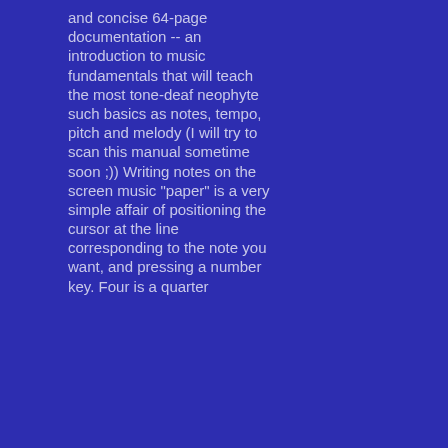and concise 64-page documentation -- an introduction to music fundamentals that will teach the most tone-deaf neophyte such basics as notes, tempo, pitch and melody (I will try to scan this manual sometime soon ;)) Writing notes on the screen music "paper" is a very simple affair of positioning the cursor at the line corresponding to the note you want, and pressing a number key. Four is a quarter